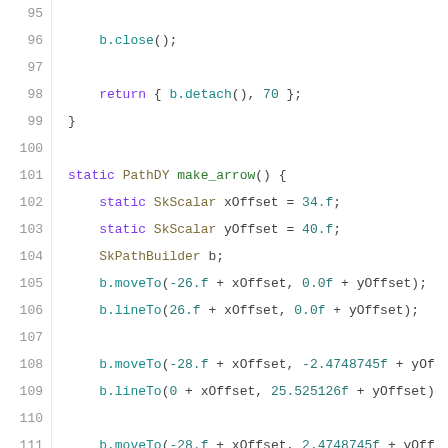Source code listing lines 96–116 showing C++ path builder code with make_arrow() function
[Figure (screenshot): Code editor view showing C++ source with syntax highlighting, line numbers 96-116, displaying b.close(), return statement, and make_arrow() function with SkPathBuilder operations]